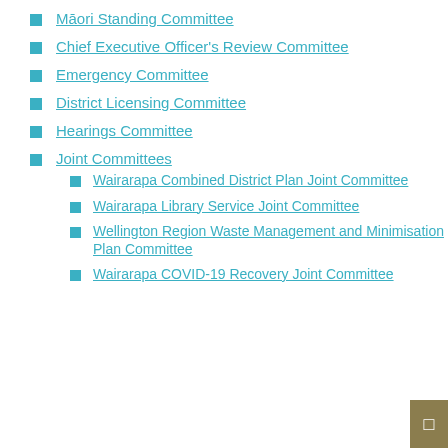Māori Standing Committee
Chief Executive Officer's Review Committee
Emergency Committee
District Licensing Committee
Hearings Committee
Joint Committees
Wairarapa Combined District Plan Joint Committee
Wairarapa Library Service Joint Committee
Wellington Region Waste Management and Minimisation Plan Committee
Wairarapa COVID-19 Recovery Joint Committee